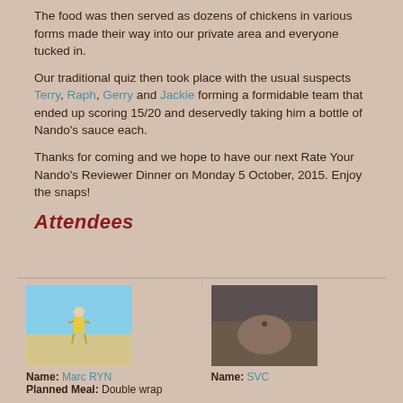The food was then served as dozens of chickens in various forms made their way into our private area and everyone tucked in.
Our traditional quiz then took place with the usual suspects Terry, Raph, Gerry and Jackie forming a formidable team that ended up scoring 15/20 and deservedly taking him a bottle of Nando's sauce each.
Thanks for coming and we hope to have our next Rate Your Nando's Reviewer Dinner on Monday 5 October, 2015. Enjoy the snaps!
Attendees
| Name: Marc RYN | Name: SVC |
| Planned Meal: Double wrap |  |